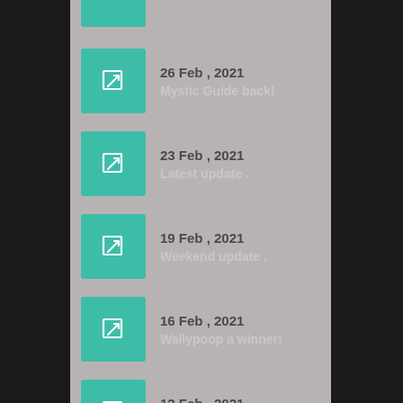26 Feb , 2021 — Mystic Guide back!
23 Feb , 2021 — Latest update .
19 Feb , 2021 — Weekend update .
16 Feb , 2021 — Wallypoop a winner!
12 Feb , 2021 — Rising star?